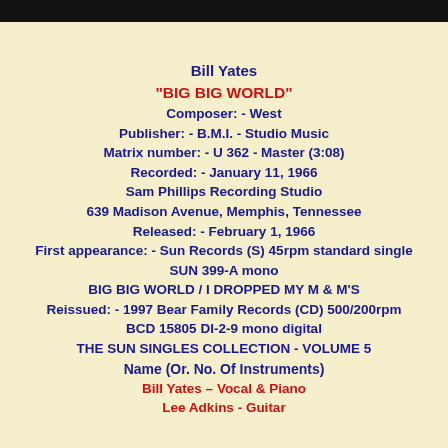Bill Yates
"BIG BIG WORLD"
Composer: - West
Publisher: - B.M.I. - Studio Music
Matrix number: - U 362 - Master (3:08)
Recorded: - January 11, 1966
Sam Phillips Recording Studio
639 Madison Avenue, Memphis, Tennessee
Released: - February 1, 1966
First appearance: - Sun Records (S) 45rpm standard single
SUN 399-A mono
BIG BIG WORLD / I DROPPED MY M & M'S
Reissued: - 1997 Bear Family Records (CD) 500/200rpm
BCD 15805 DI-2-9 mono digital
THE SUN SINGLES COLLECTION - VOLUME 5
Name (Or. No. Of Instruments)
Bill Yates – Vocal & Piano
Lee Adkins - Guitar